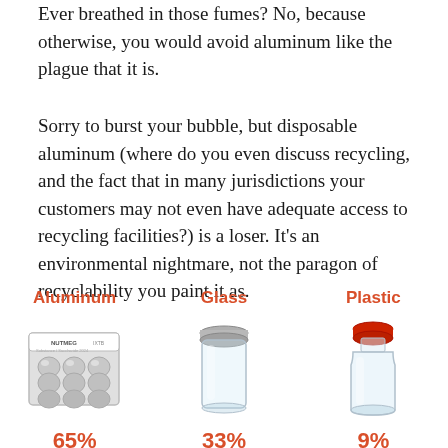Ever breathed in those fumes? No, because otherwise, you would avoid aluminum like the plague that it is.
Sorry to burst your bubble, but disposable aluminum (where do you even discuss recycling, and the fact that in many jurisdictions your customers may not even have adequate access to recycling facilities?) is a loser. It's an environmental nightmare, not the paragon of recyclability you paint it as.
[Figure (infographic): Three packaging types shown with images and recycling percentages: Aluminum (blister pack) 65%, Glass (clear jar) 33%, Plastic (clear bottle with red cap) 9%]